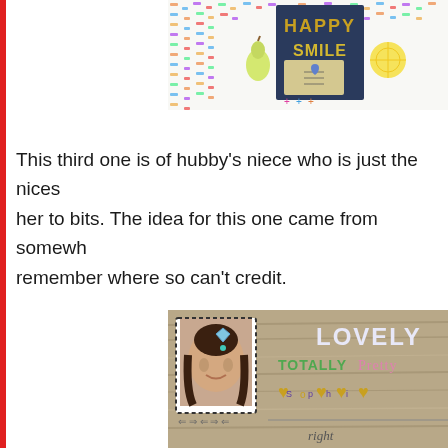[Figure (photo): Scrapbook layout with colorful patterned background showing 'HAPPY SMILE' text and decorative elements including a pear, lemon slice, and a journaling card with heart]
This third one is of hubby's niece who is just the nicest girl, we love her to bits. The idea for this one came from somewhere but can't remember where so can't credit.
[Figure (photo): Scrapbook layout featuring a photo of a smiling young woman with dark hair, decorative border with dots, and text saying LOVELY, TOTALLY, PRETTY, Sophie, right, with heart embellishments on a wood-grain background]